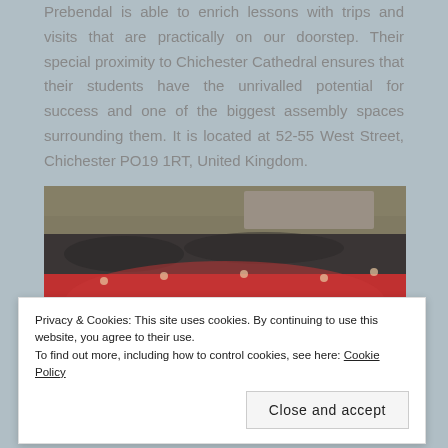Prebendal is able to enrich lessons with trips and visits that are practically on our doorstep. Their special proximity to Chichester Cathedral ensures that their students have the unrivalled potential for success and one of the biggest assembly spaces surrounding them. It is located at 52-55 West Street, Chichester PO19 1RT, United Kingdom.
[Figure (photo): Aerial/elevated group photo of school children mostly wearing red uniforms waving, with teachers, gathered outdoors against a stone wall.]
Privacy & Cookies: This site uses cookies. By continuing to use this website, you agree to their use.
To find out more, including how to control cookies, see here: Cookie Policy
Close and accept